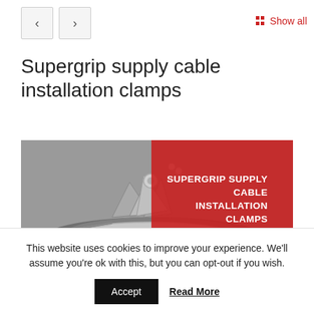[Figure (other): Navigation previous and next arrow buttons (carousel controls)]
Show all
Supergrip supply cable installation clamps
[Figure (photo): Black and white photo of Supergrip supply cable installation clamp hardware with a red overlay box containing white bold text: SUPERGRIP SUPPLY CABLE INSTALLATION CLAMPS]
This website uses cookies to improve your experience. We'll assume you're ok with this, but you can opt-out if you wish.
Accept
Read More